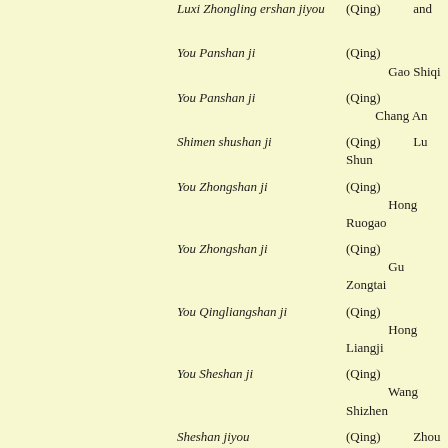| [Chinese] | Title (romanized) | Dynasty/Author |
| --- | --- | --- |
| [Chinese] | Luxi Zhongling ershan jiyou | (Qing) [Chinese] and [Chinese] |
| [Chinese] | You Panshan ji | (Qing) [Chinese] Gao Shiqi |
| [Chinese] | You Panshan ji | (Qing) [Chinese] Chang An |
| [Chinese] | Shimen shushan ji | (Qing) [Chinese] Lu Shun |
| [Chinese] | You Zhongshan ji | (Qing) [Chinese] Hong Ruogao |
| [Chinese] | You Zhongshan ji | (Qing) [Chinese] Gu Zongtai |
| [Chinese] | You Qingliangshan ji | (Qing) [Chinese] Hong Liangji |
| [Chinese] | You Sheshan ji | (Qing) [Chinese] Wang Shizhen |
| [Chinese] | Sheshan jiyou | (Qing) [Chinese] Zhou Shou |
| [Chinese] | Pingshantang ji | (Qing) [Chinese] Quan Zuwang |
| [Chinese] | Honghuadong ji | (Qing) [Chinese] Hao Yixing |
| [Chinese] | Qixiashan lansheng ji | (Qing) [Chinese] Wang Xiqi |
| [Chinese] | You Fufushan fanzhou jiangkou jifa | (Qing) [Chinese] Hong Liangji |
| [Chinese] | Huoshan youji | (Qing) [Chinese] Lu Qiulu |